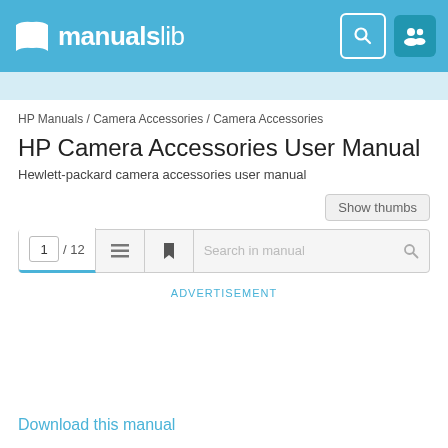manualslib
HP Manuals / Camera Accessories / Camera Accessories
HP Camera Accessories User Manual
Hewlett-packard camera accessories user manual
Show thumbs
1 / 12
Search in manual
ADVERTISEMENT
Download this manual